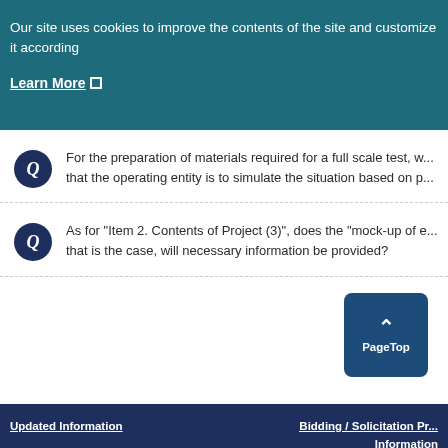Our site uses cookies to improve the contents of the site and customize it according
Learn More
For the preparation of materials required for a full scale test, w... that the operating entity is to simulate the situation based on p...
As for “Item 2. Contents of Project (3)”, does the “mock-up of e... that is the case, will necessary information be provided?
PageTop
Updated Information   Bidding / Solicitation Pr... Information